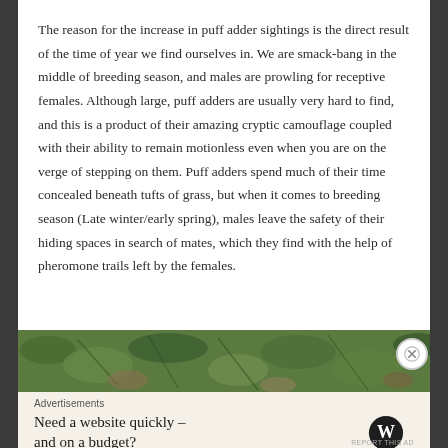The reason for the increase in puff adder sightings is the direct result of the time of year we find ourselves in. We are smack-bang in the middle of breeding season, and males are prowling for receptive females. Although large, puff adders are usually very hard to find, and this is a product of their amazing cryptic camouflage coupled with their ability to remain motionless even when you are on the verge of stepping on them. Puff adders spend much of their time concealed beneath tufts of grass, but when it comes to breeding season (Late winter/early spring), males leave the safety of their hiding spaces in search of mates, which they find with the help of pheromone trails left by the females.
[Figure (photo): Partial photo strip showing vegetation and foliage, likely of a puff adder habitat]
Advertisements
Need a website quickly – and on a budget?